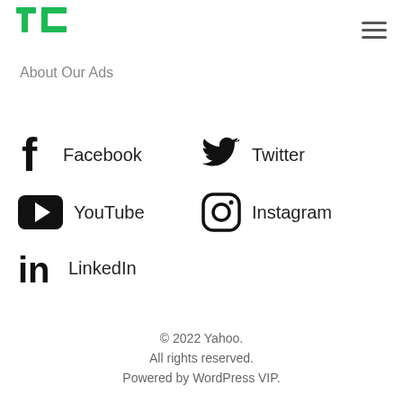TechCrunch logo and hamburger menu
About Our Ads
[Figure (infographic): Social media links: Facebook, Twitter, YouTube, Instagram, LinkedIn icons with labels]
© 2022 Yahoo. All rights reserved. Powered by WordPress VIP.